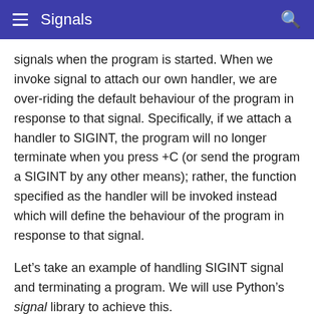Signals
signals when the program is started. When we invoke signal to attach our own handler, we are over-riding the default behaviour of the program in response to that signal. Specifically, if we attach a handler to SIGINT, the program will no longer terminate when you press +C (or send the program a SIGINT by any other means); rather, the function specified as the handler will be invoked instead which will define the behaviour of the program in response to that signal.
Let’s take an example of handling SIGINT signal and terminating a program. We will use Python’s signal library to achieve this.
When we press Ctrl+C, SIGINT signal is sent. From the signals table, we see that the default action for SIGINT is